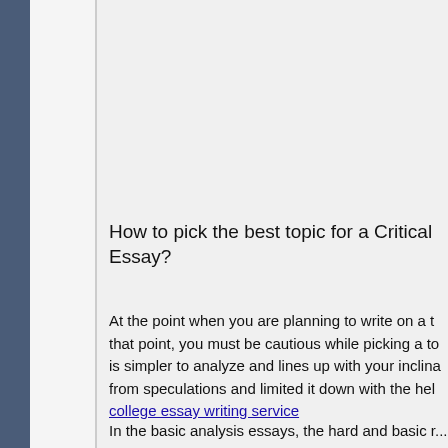How to pick the best topic for a Critical Essay?
At the point when you are planning to write on a t... that point, you must be cautious while picking a to... is simpler to analyze and lines up with your inclina... from speculations and limited it down with the hel... college essay writing service
In the basic analysis essays, the hard and basic r...